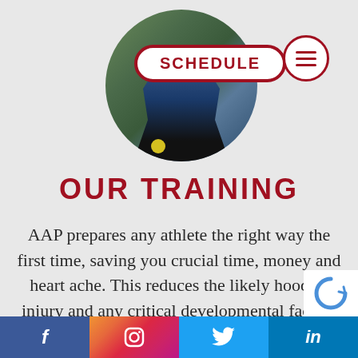[Figure (photo): Circular cropped photo of an athlete on a field, tennis/field hockey context with yellow ball visible. Overlaid with SCHEDULE button and menu icon.]
OUR TRAINING
AAP prepares any athlete the right way the first time, saving you crucial time, money and heart ache. This reduces the likely hood of injury and any critical developmental factors occurring at
f | Instagram | Twitter bird | in